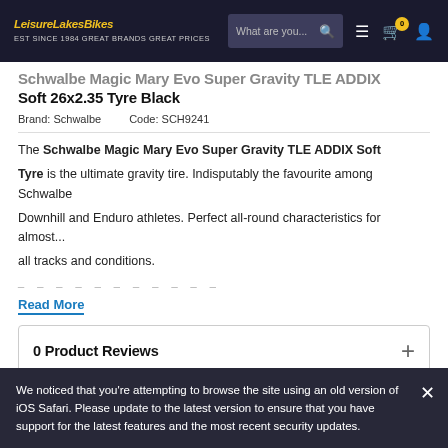LeisureLakesBikes.com — navigation bar with search, menu, cart (0), and user account icons
Schwalbe Magic Mary Evo Super Gravity TLE ADDIX Soft 26x2.35 Tyre Black
Brand: Schwalbe   Code: SCH9241
The Schwalbe Magic Mary Evo Super Gravity TLE ADDIX Soft Tyre is the ultimate gravity tire. Indisputably the favourite among Schwalbe Downhill and Enduro athletes. Perfect all-round characteristics for almost... all tracks and conditions.
Read More
0 Product Reviews
We noticed that you're attempting to browse the site using an old version of iOS Safari. Please update to the latest version to ensure that you have support for the latest features and the most recent security updates.